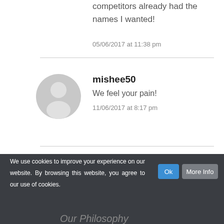competitors already had the names I wanted!
05/06/2017 at 11:38 pm
[Figure (illustration): Default user avatar icon - gray circle with silhouette of a person]
mishee50
We feel your pain!
11/06/2017 at 8:17 pm
We use cookies to improve your experience on our website. By browsing this website, you agree to our use of cookies.
Our Philosophy